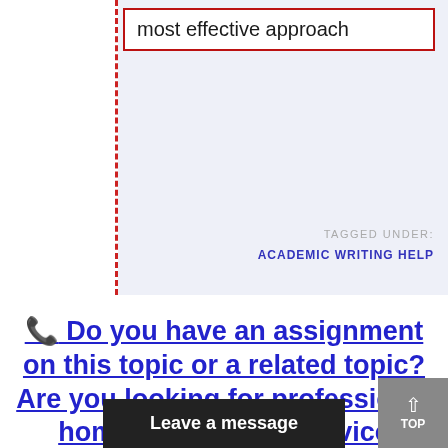most effective approach
TAGGED UNDER:
ACADEMIC WRITING HELP
📞 Do you have an assignment on this topic or a related topic? Are you looking for professional homework writing service providers?
Leave a message